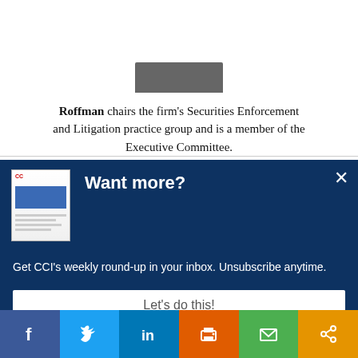Roffman chairs the firm's Securities Enforcement and Litigation practice group and is a member of the Executive Committee.
[Figure (screenshot): Promotional modal overlay on dark blue background showing a newsletter thumbnail image and 'Want more?' heading]
Want more?
Get CCI's weekly round-up in your inbox. Unsubscribe anytime.
Let's do this!
[Figure (infographic): Social sharing bar at the bottom with icons for Facebook, Twitter, LinkedIn, Print, Email, and Share]